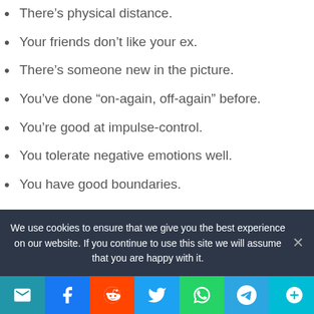There's physical distance.
Your friends don't like your ex.
There's someone new in the picture.
You've done “on-again, off-again” before.
You’re good at impulse-control.
You tolerate negative emotions well.
You have good boundaries.
How do you know if it’s really over?
Perhaps the easiest way to tell if a relationship is over is when you notice that you’re struggling to talk to him the way that you
We use cookies to ensure that we give you the best experience on our website. If you continue to use this site we will assume that you are happy with it.